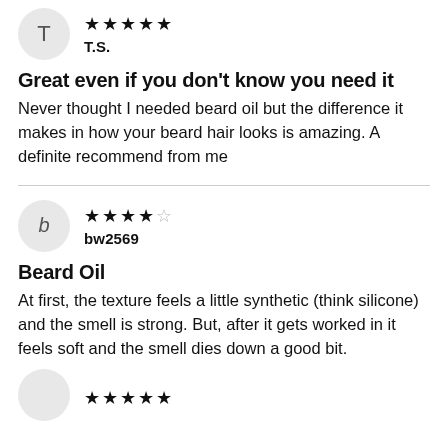[Figure (other): Avatar circle with letter T for reviewer T.S., 5 filled stars rating]
T.S.
Great even if you don't know you need it
Never thought I needed beard oil but the difference it makes in how your beard hair looks is amazing. A definite recommend from me
[Figure (other): Avatar circle with letter b for reviewer bw2569, 4.5 stars rating (4 filled, 1 empty)]
bw2569
Beard Oil
At first, the texture feels a little synthetic (think silicone) and the smell is strong. But, after it gets worked in it feels soft and the smell dies down a good bit.
[Figure (other): Avatar circle partially visible at bottom of page with stars, third reviewer]